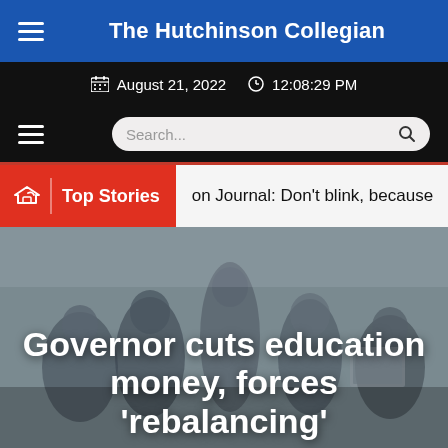The Hutchinson Collegian
August 21, 2022  12:08:29 PM
Search...
Top Stories
on Journal: Don't blink, because
Governor cuts education money, forces 'rebalancing'